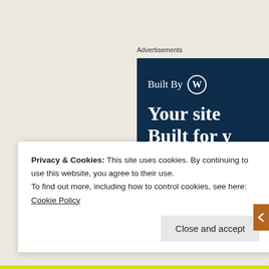Advertisements
[Figure (screenshot): WordPress.com advertisement banner with dark navy background. Shows 'Built By' with WordPress logo, tagline 'Your site Built for y...' and a 'Get a quote now' button.]
Privacy & Cookies: This site uses cookies. By continuing to use this website, you agree to their use.
To find out more, including how to control cookies, see here: Cookie Policy
Close and accept